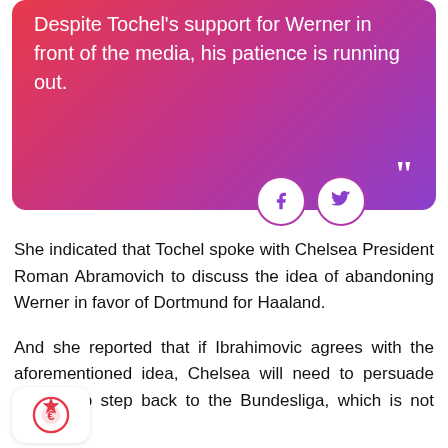Despite Tochel's support for Werner in front of the media, his patience is running out.
She indicated that Tochel spoke with Chelsea President Roman Abramovich to discuss the idea of abandoning Werner in favor of Dortmund for Haaland.
And she reported that if Ibrahimovic agrees with the aforementioned idea, Chelsea will need to persuade Werner to step back to the Bundesliga, which is not easy.
[Figure (logo): Red badge/logo icon at bottom left]